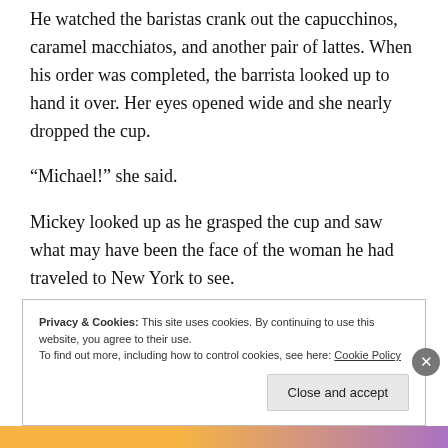He watched the baristas crank out the capucchinos, caramel macchiatos, and another pair of lattes. When his order was completed, the barrista looked up to hand it over. Her eyes opened wide and she nearly dropped the cup.
“Michael!” she said.
Mickey looked up as he grasped the cup and saw what may have been the face of the woman he had traveled to New York to see.
“Heather?”
Privacy & Cookies: This site uses cookies. By continuing to use this website, you agree to their use.
To find out more, including how to control cookies, see here: Cookie Policy